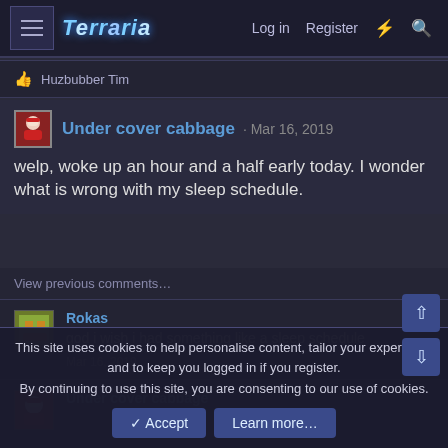Terraria forum navigation bar with Log in, Register links
👍 Huzbubber Tim
Under cover cabbage · Mar 16, 2019
welp, woke up an hour and a half early today. I wonder what is wrong with my sleep schedule.
View previous comments…
Rokas
god i wish i had something like a sleep schedule
Mar 16, 2019
Under cover cabbage
This site uses cookies to help personalise content, tailor your experience and to keep you logged in if you register.
By continuing to use this site, you are consenting to our use of cookies.
✓ Accept   Learn more…